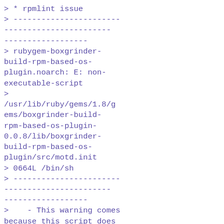> * rpmlint issue
> -----------------------------------------------
> rubygem-boxgrinder-build-rpm-based-os-plugin.noarch: E: non-executable-script
> /usr/lib/ruby/gems/1.8/gems/boxgrinder-build-rpm-based-os-plugin-0.0.8/lib/boxgrinder-build-rpm-based-os-plugin/src/motd.init
> 0664L /bin/sh
> -----------------------------------------------
>    - This warning comes because this script does not have executable permission
>      while the script has shebang. While I think this script need not have
> executable
>      permission because this file seems